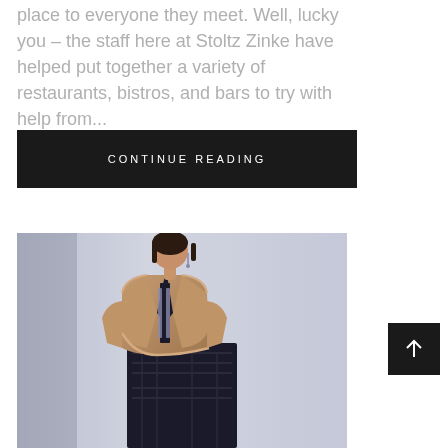place to everyone they meet. Well, lucky you – the staff here at Stoltz Zinke have helped put together a variety of restaurants, bistros, and bars to try with help from...
CONTINUE READING
[Figure (photo): A woman wearing a tan leather vest over a dark patterned dress, photographed against a light gray-blue background.]